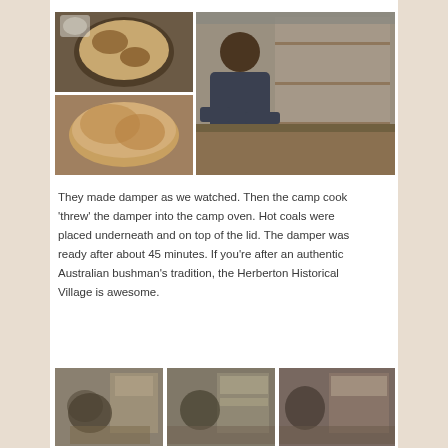[Figure (photo): Collage of four photos showing food (stew and damper bread) and a camp cook preparing damper in a rustic kitchen setting at Herberton Historical Village]
They made damper as we watched. Then the camp cook 'threw' the damper into the camp oven. Hot coals were placed underneath and on top of the lid. The damper was ready after about 45 minutes. If you're after an authentic Australian bushman's tradition, the Herberton Historical Village is awesome.
[Figure (photo): Three photos showing the camp cook at work preparing damper in the historical village kitchen]